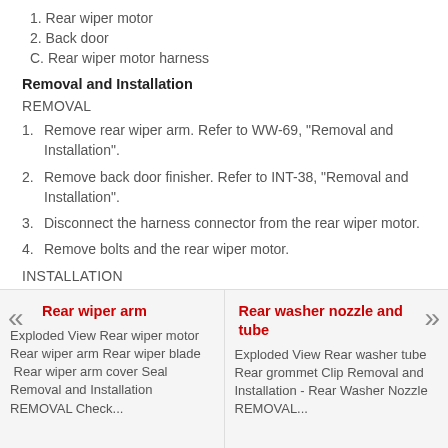1. Rear wiper motor
2. Back door
C. Rear wiper motor harness
Removal and Installation
REMOVAL
1. Remove rear wiper arm. Refer to WW-69, "Removal and Installation".
2. Remove back door finisher. Refer to INT-38, "Removal and Installation".
3. Disconnect the harness connector from the rear wiper motor.
4. Remove bolts and the rear wiper motor.
INSTALLATION
Install in the reverse order of removal.
Rear wiper arm — Exploded View Rear wiper motor Rear wiper arm Rear wiper blade Rear wiper arm cover Seal Removal and Installation REMOVAL Check...
Rear washer nozzle and tube — Exploded View Rear washer tube Rear grommet Clip Removal and Installation - Rear Washer Nozzle REMOVAL...